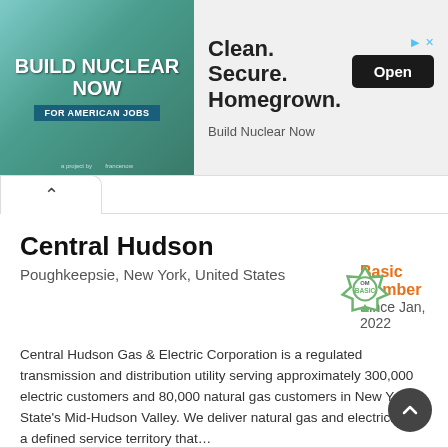[Figure (other): Advertisement banner for 'Build Nuclear Now' campaign showing a teal-colored image with the text 'BUILD NUCLEAR NOW FOR AMERICAN JOBS' on the left, and 'Clean. Secure. Homegrown.' headline with an 'Open' button and 'Build Nuclear Now' brand name on the right.]
Central Hudson
Poughkeepsie, New York, United States
Basic Member
Since Jan, 2022
Central Hudson Gas & Electric Corporation is a regulated transmission and distribution utility serving approximately 300,000 electric customers and 80,000 natural gas customers in New York State's Mid-Hudson Valley. We deliver natural gas and electricity in a defined service territory that...
→ Read more   ✈ Contact now